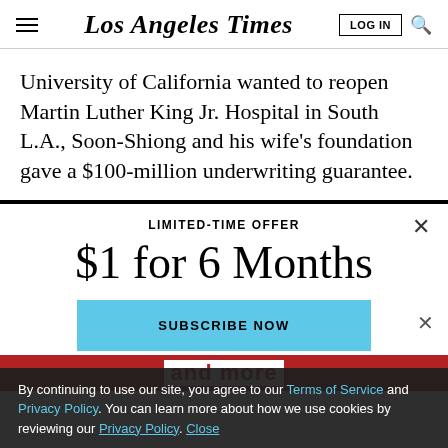Los Angeles Times
University of California wanted to reopen Martin Luther King Jr. Hospital in South L.A., Soon-Shiong and his wife’s foundation gave a $100-million underwriting guarantee.
LIMITED-TIME OFFER
$1 for 6 Months
SUBSCRIBE NOW
By continuing to use our site, you agree to our Terms of Service and Privacy Policy. You can learn more about how we use cookies by reviewing our Privacy Policy. Close